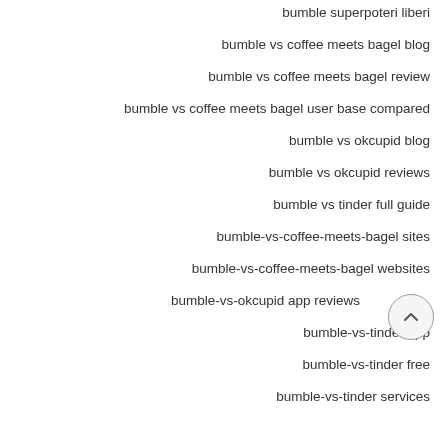bumble superpoteri liberi
bumble vs coffee meets bagel blog
bumble vs coffee meets bagel review
bumble vs coffee meets bagel user base compared
bumble vs okcupid blog
bumble vs okcupid reviews
bumble vs tinder full guide
bumble-vs-coffee-meets-bagel sites
bumble-vs-coffee-meets-bagel websites
bumble-vs-okcupid app reviews
bumble-vs-tinder app
bumble-vs-tinder free
bumble-vs-tinder services